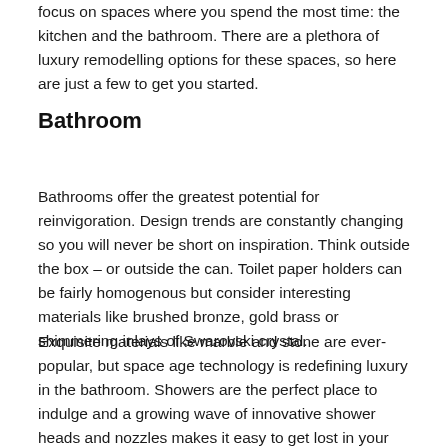focus on spaces where you spend the most time: the kitchen and the bathroom. There are a plethora of luxury remodelling options for these spaces, so here are just a few to get you started.
Bathroom
Bathrooms offer the greatest potential for reinvigoration. Design trends are constantly changing so you will never be short on inspiration. Think outside the box – or outside the can. Toilet paper holders can be fairly homogenous but consider interesting materials like brushed bronze, gold brass or shimmering inlays of Swarovski crystal.
Exquisite materials like marble and stone are ever-popular, but space age technology is redefining luxury in the bathroom. Showers are the perfect place to indulge and a growing wave of innovative shower heads and nozzles makes it easy to get lost in your daily wash. You can even bring elements of the spa to your bathroom